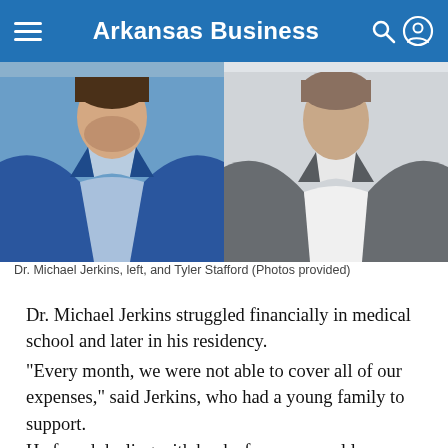Arkansas Business
[Figure (photo): Two men in business attire: left man in blue blazer and light blue shirt, right man in gray suit and white shirt (Photos provided)]
Dr. Michael Jerkins, left, and Tyler Stafford (Photos provided)
Dr. Michael Jerkins struggled financially in medical school and later in his residency.
“Every month, we were not able to cover all of our expenses,” said Jerkins, who had a young family to support.
He found dealing with banks for a personal loan